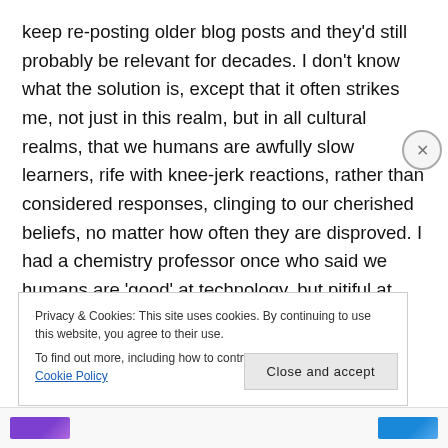keep re-posting older blog posts and they'd still probably be relevant for decades. I don't know what the solution is, except that it often strikes me, not just in this realm, but in all cultural realms, that we humans are awfully slow learners, rife with knee-jerk reactions, rather than considered responses, clinging to our cherished beliefs, no matter how often they are disproved. I had a chemistry professor once who said we humans are 'good' at technology, but pitiful at genuine intellectual progress. *sigh*
Privacy & Cookies: This site uses cookies. By continuing to use this website, you agree to their use.
To find out more, including how to control cookies, see here: Cookie Policy